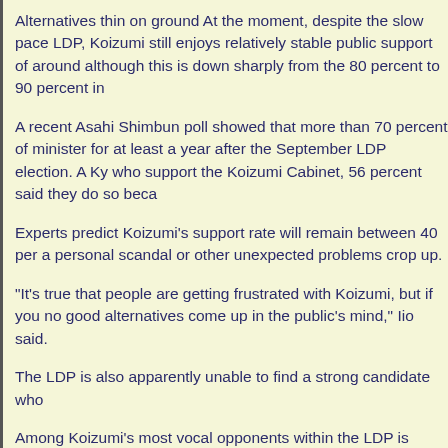Alternatives thin on ground At the moment, despite the slow pace LDP, Koizumi still enjoys relatively stable public support of around although this is down sharply from the 80 percent to 90 percent in
A recent Asahi Shimbun poll showed that more than 70 percent of minister for at least a year after the September LDP election. A Ky who support the Koizumi Cabinet, 56 percent said they do so beca
Experts predict Koizumi's support rate will remain between 40 per a personal scandal or other unexpected problems crop up.
"It's true that people are getting frustrated with Koizumi, but if you no good alternatives come up in the public's mind," Iio said.
The LDP is also apparently unable to find a strong candidate who
Among Koizumi's most vocal opponents within the LDP is former p declared his intention to defeat Koizumi in September. But Kamei's barrel spending -- is far from popular with the public.
Younger potential successors to Koizumi, notably four lawmakers charisma. These are policy chief Taro Aso, trade minister Takeo H Koga and former Foreign Minister Masahiko Komura.
"What has changed under the Koizumi administration is the level o and political reforms, and their interest in politics," Iio said. "The L who do not appeal to the public."